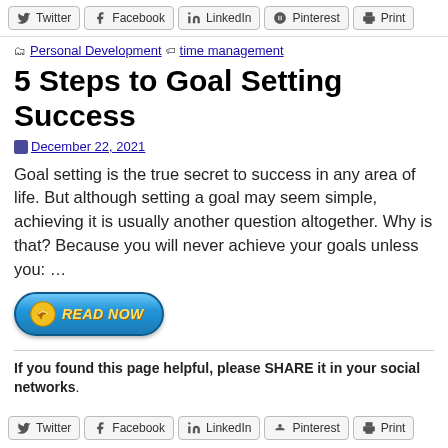Twitter  Facebook  LinkedIn  Pinterest  Print
Personal Development  time management
5 Steps to Goal Setting Success
December 22, 2021
Goal setting is the true secret to success in any area of life. But although setting a goal may seem simple, achieving it is usually another question altogether. Why is that? Because you will never achieve your goals unless you: ...
[Figure (other): READ NOW button with arrow icon, blue gradient rounded rectangle with yellow italic bold text]
If you found this page helpful, please SHARE it in your social networks.
Twitter  Facebook  LinkedIn  Pinterest  Print